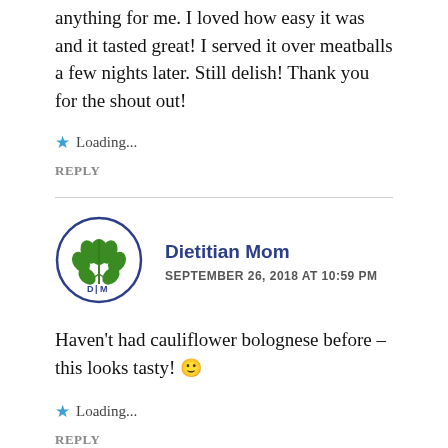anything for me. I loved how easy it was and it tasted great! I served it over meatballs a few nights later. Still delish! Thank you for the shout out!
★ Loading...
REPLY
Dietitian Mom
SEPTEMBER 26, 2018 AT 10:59 PM
Haven't had cauliflower bolognese before – this looks tasty! 🙂
★ Loading...
REPLY